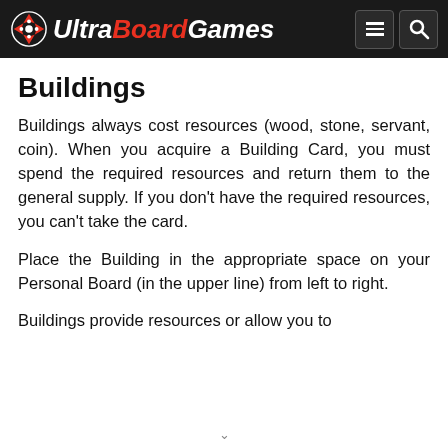UltraBoardGames
Buildings
Buildings always cost resources (wood, stone, servant, coin). When you acquire a Building Card, you must spend the required resources and return them to the general supply. If you don't have the required resources, you can't take the card.
Place the Building in the appropriate space on your Personal Board (in the upper line) from left to right.
Buildings provide resources or allow you to